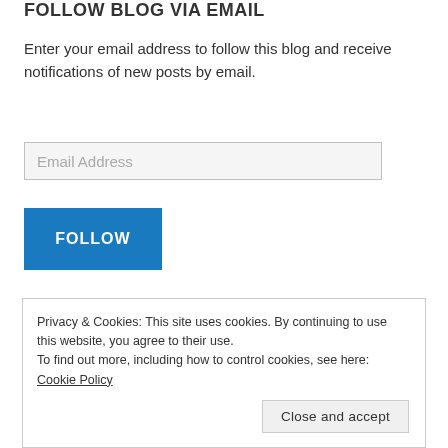FOLLOW BLOG VIA EMAIL
Enter your email address to follow this blog and receive notifications of new posts by email.
Email Address
FOLLOW
ARTICLES
Blogging (7)
Privacy & Cookies: This site uses cookies. By continuing to use this website, you agree to their use.
To find out more, including how to control cookies, see here: Cookie Policy
Close and accept